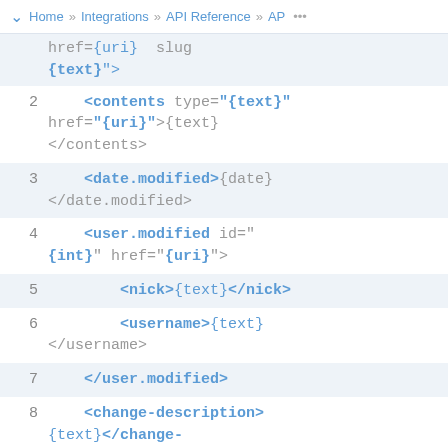Home » Integrations » API Reference » AP ...
[Figure (screenshot): XML API reference code snippet showing lines 1-9 with blue highlighted template syntax including contents, date.modified, user.modified, nick, username, and change-description elements]